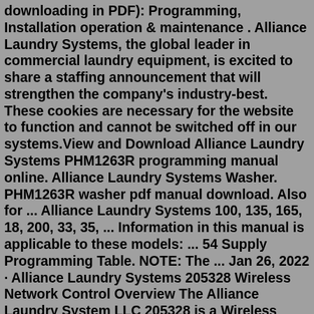downloading in PDF): Programming, Installation operation & maintenance . Alliance Laundry Systems, the global leader in commercial laundry equipment, is excited to share a staffing announcement that will strengthen the company's industry-best. These cookies are necessary for the website to function and cannot be switched off in our systems.View and Download Alliance Laundry Systems PHM1263R programming manual online. Alliance Laundry Systems Washer. PHM1263R washer pdf manual download. Also for ... Alliance Laundry Systems 100, 135, 165, 18, 200, 33, 35, ... Information in this manual is applicable to these models: ... 54 Supply Programming Table. NOTE: The ... Jan 26, 2022 · Alliance Laundry Systems 205328 Wireless Network Control Overview The Alliance Laundry System LLC 205328 is a Wireless Network Control to be factory installed into compliant Alliance Laundry Systems LLC washer and dryer models. The 205328 Control is equipped with a 2.4 GHz IEEE 802.11b/g/n Wi-Fi module based on the Texas Instruments CC3230SF